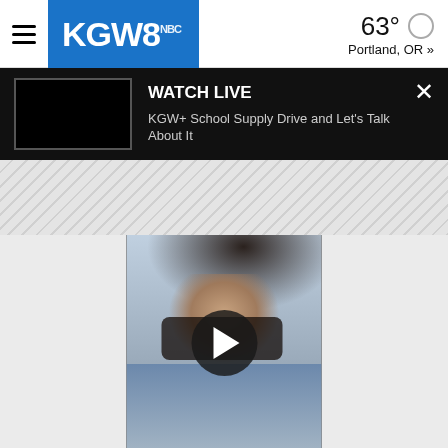KGW8
63° Portland, OR »
WATCH LIVE
KGW+ School Supply Drive and Let's Talk About It
[Figure (photo): Video thumbnail of a young woman in a car with a play button overlay]
[Figure (other): Diagonal striped advertisement/promo banner]